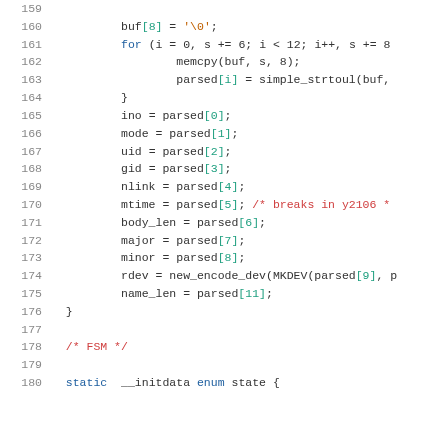Source code listing, lines 159-180, C code snippet showing buffer parsing and FSM comment